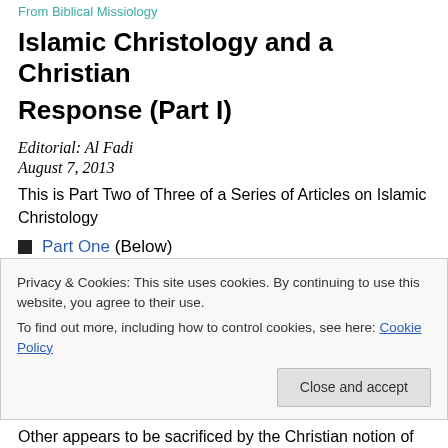From Biblical Missiology
Islamic Christology and a Christian Response (Part I)
Editorial: Al Fadi
August 7, 2013
This is Part Two of Three of a Series of Articles on Islamic Christology
Part One (Below)
Part Two (forthcoming)
Privacy & Cookies: This site uses cookies. By continuing to use this website, you agree to their use.
To find out more, including how to control cookies, see here: Cookie Policy
Other appears to be sacrificed by the Christian notion of